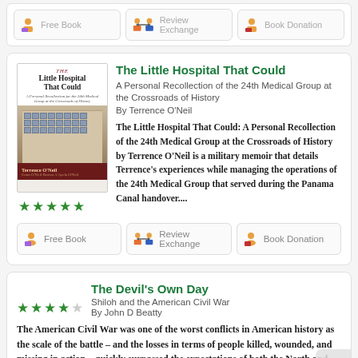[Figure (screenshot): Top strip with Free Book, Review Exchange, Book Donation buttons]
[Figure (screenshot): Book listing card for 'The Little Hospital That Could' with cover image, 5-star rating, description, and action buttons]
The Little Hospital That Could
A Personal Recollection of the 24th Medical Group at the Crossroads of History
By Terrence O'Neil
The Little Hospital That Could: A Personal Recollection of the 24th Medical Group at the Crossroads of History by Terrence O'Neil is a military memoir that details Terrence's experiences while managing the operations of the 24th Medical Group that served during the Panama Canal handover....
[Figure (screenshot): Book listing card for 'The Devil's Own Day' with 4-star rating]
The Devil's Own Day
Shiloh and the American Civil War
By John D Beatty
The American Civil War was one of the worst conflicts in American history as the scale of the battle – and the losses in terms of people killed, wounded, and missing in action – quickly surpassed the expectations of both the North and the South...